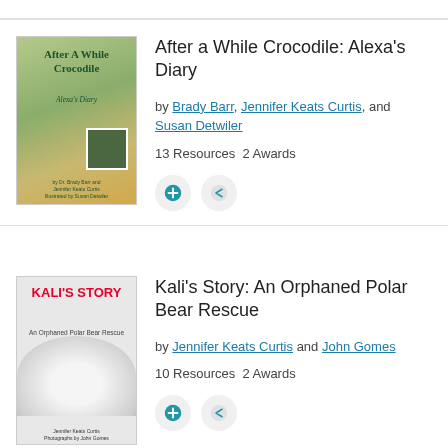[Figure (illustration): Book cover for 'After A While Crocodile: Alexa's Diary' showing a crocodile illustration with a child's photo inset]
After a While Crocodile: Alexa's Diary
by Brady Barr, Jennifer Keats Curtis, and Susan Detwiler
13 Resources  2 Awards
[Figure (illustration): Book cover for 'Kali's Story: An Orphaned Polar Bear Rescue' showing a white polar bear cub]
Kali's Story: An Orphaned Polar Bear Rescue
by Jennifer Keats Curtis and John Gomes
10 Resources  2 Awards